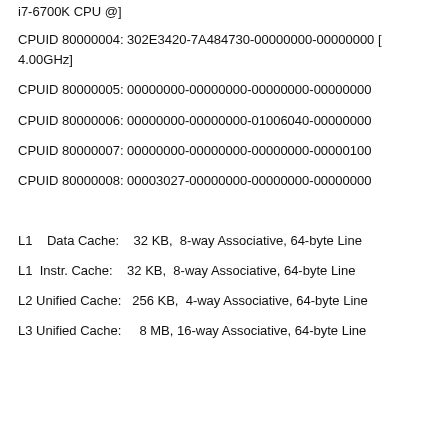i7-6700K CPU @]
CPUID 80000004: 302E3420-7A484730-00000000-00000000 [4.00GHz]
CPUID 80000005: 00000000-00000000-00000000-00000000
CPUID 80000006: 00000000-00000000-01006040-00000000
CPUID 80000007: 00000000-00000000-00000000-00000100
CPUID 80000008: 00003027-00000000-00000000-00000000
L1    Data Cache:    32 KB,  8-way Associative, 64-byte Line
L1  Instr. Cache:    32 KB,  8-way Associative, 64-byte Line
L2 Unified Cache:   256 KB,  4-way Associative, 64-byte Line
L3 Unified Cache:     8 MB, 16-way Associative, 64-byte Line